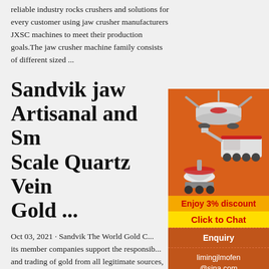reliable industry rocks crushers and solutions for every customer using jaw crusher manufacturers JXSC machines to meet their production goals.The jaw crusher machine family consists of different sized ...
Sandvik jaw Artisanal and Small-Scale Quartz Vein Gold ...
Oct 03, 2021 · Sandvik The World Gold C... its member companies support the responsible... and trading of gold from all legitimate sources, including artisanal and small-scale mining (ASM). The m... development of gold resources both through l... mining (LSM) and ASM, especially when coup... sound governance, has the potential to delive... ...:::Sandvik Gold in
[Figure (illustration): Orange sidebar advertisement panel showing mining machinery (crusher equipment) illustrations on orange background, with 'Enjoy 3% discount' yellow bar, 'Click to Chat' yellow-red bar, 'Enquiry' section, and email 'limingjlmofen@sina.com']